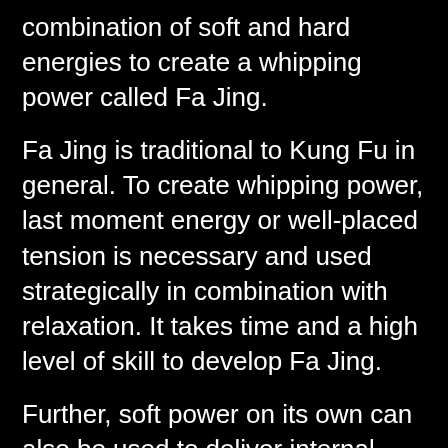combination of soft and hard energies to create a whipping power called Fa Jing.
Fa Jing is traditional to Kung Fu in general. To create whipping power, last moment energy or well-placed tension is necessary and used strategically in combination with relaxation. It takes time and a high level of skill to develop Fa Jing.
Further, soft power on its own can also be used to deliver internal damage. A good lineage understands the nuances of both soft power and soft/hard power. Avoid lineages with hard power only since relaxation is a key Principle in Wing Chun.
Footwork
Footwork is emphasized by some lineages, while